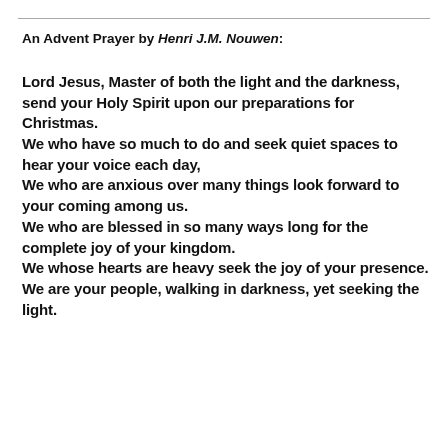An Advent Prayer by Henri J.M. Nouwen:
Lord Jesus, Master of both the light and the darkness, send your Holy Spirit upon our preparations for Christmas.
We who have so much to do and seek quiet spaces to hear your voice each day,
We who are anxious over many things look forward to your coming among us.
We who are blessed in so many ways long for the complete joy of your kingdom.
We whose hearts are heavy seek the joy of your presence.
We are your people, walking in darkness, yet seeking the light.